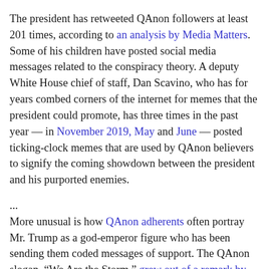The president has retweeted QAnon followers at least 201 times, according to an analysis by Media Matters. Some of his children have posted social media messages related to the conspiracy theory. A deputy White House chief of staff, Dan Scavino, who has for years combed corners of the internet for memes that the president could promote, has three times in the past year — in November 2019, May and June — posted ticking-clock memes that are used by QAnon believers to signify the coming showdown between the president and his purported enemies.
...
More unusual is how QAnon adherents often portray Mr. Trump as a god-emperor figure who has been sending them coded messages of support. The QAnon slogan, "We Are the Storm," grew out of a remark by Mr. Trump, who quipped during a 2017 photo op with generals, "You guys know what this represents? Maybe it's the calm